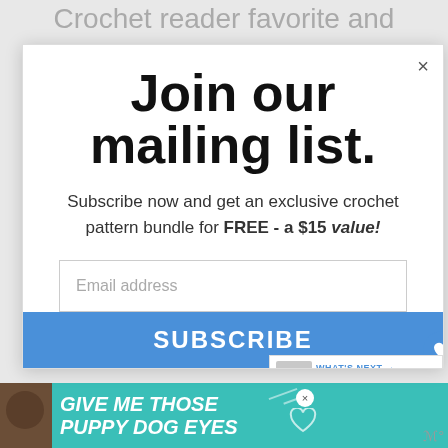Crochet reader favorite and
Join our mailing list.
Subscribe now and get an exclusive crochet pattern bundle for FREE - a $15 value!
Email address
SUBSCRIBE
WHAT'S NEXT → Crochet Blanket Size....
[Figure (screenshot): GIVE ME THOSE PUPPY DOG EYES advertisement banner with dog image and heart icon]